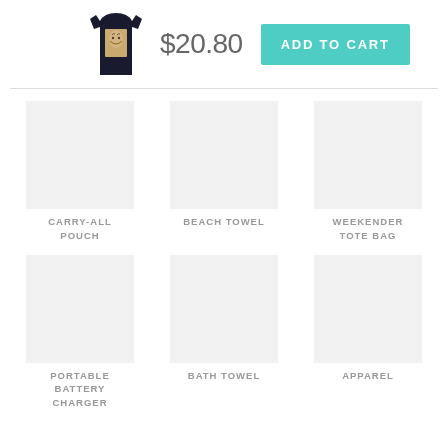[Figure (photo): Dark navy tank top with a vintage portrait graphic]
$20.80
ADD TO CART
CARRY-ALL POUCH
BEACH TOWEL
WEEKENDER TOTE BAG
PORTABLE BATTERY CHARGER
BATH TOWEL
APPAREL